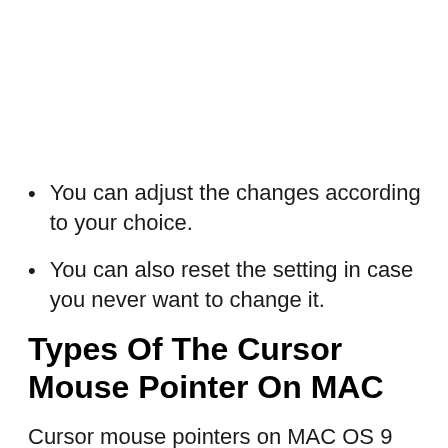You can adjust the changes according to your choice.
You can also reset the setting in case you never want to change it.
Types Of The Cursor Mouse Pointer On MAC
Cursor mouse pointers on MAC OS 9 and OS 10